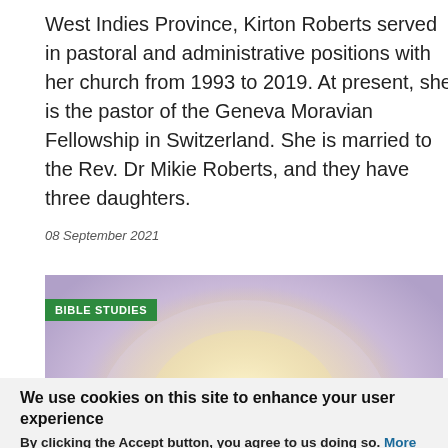West Indies Province, Kirton Roberts served in pastoral and administrative positions with her church from 1993 to 2019. At present, she is the pastor of the Geneva Moravian Fellowship in Switzerland. She is married to the Rev. Dr Mikie Roberts, and they have three daughters.
08 September 2021
[Figure (illustration): A painting depicting two figures — one in white robes with brown hair (resembling Jesus) leaning toward another figure dressed in dark/black clothing, set against a soft purple and yellow glowing background.]
We use cookies on this site to enhance your user experience
By clicking the Accept button, you agree to us doing so. More info